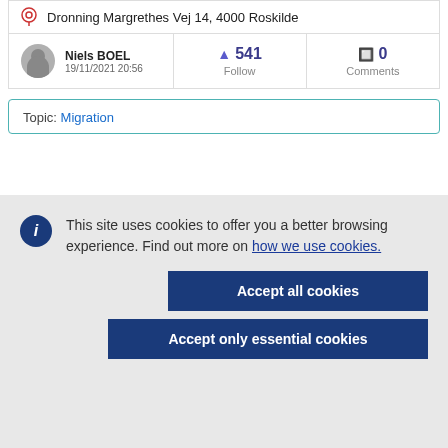Dronning Margrethes Vej 14, 4000 Roskilde
Niels BOEL
19/11/2021 20:56
541 Follow
0 Comments
Topic: Migration
This site uses cookies to offer you a better browsing experience. Find out more on how we use cookies.
Accept all cookies
Accept only essential cookies